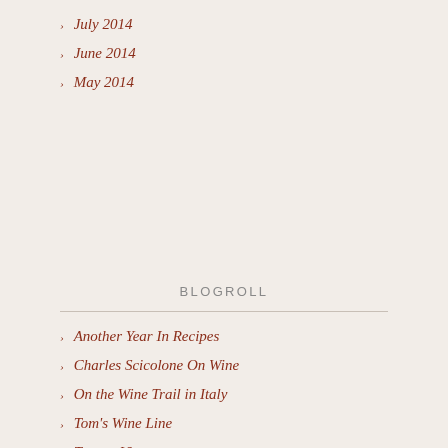July 2014
June 2014
May 2014
BLOGROLL
Another Year In Recipes
Charles Scicolone On Wine
On the Wine Trail in Italy
Tom's Wine Line
Tuscan Vines